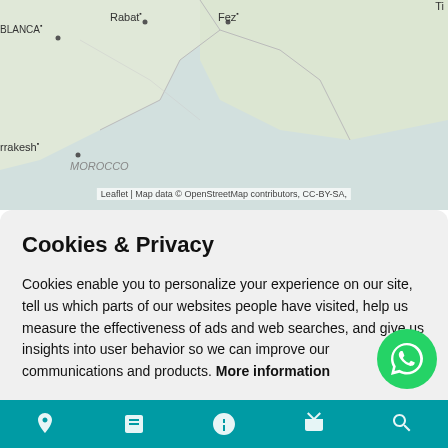[Figure (map): Map background showing North Africa region with cities Rabat, Fez, Casablanca (BLANCA), Marrakesh, MOROCCO, Ghardaia labeled. Map rendered by Leaflet with OpenStreetMap data.]
Leaflet | Map data © OpenStreetMap contributors, CC-BY-SA,
Cookies & Privacy
Cookies enable you to personalize your experience on our site, tell us which parts of our websites people have visited, help us measure the effectiveness of ads and web searches, and give us insights into user behavior so we can improve our communications and products. More information
Accept Cookies
Customise Cookies